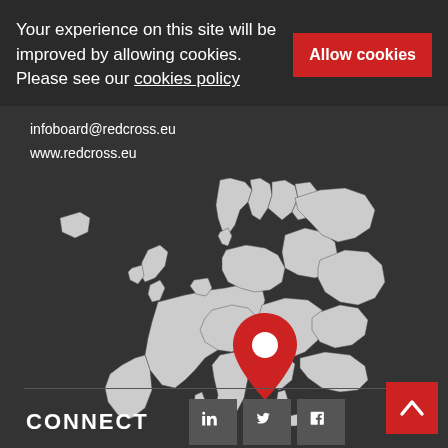Your experience on this site will be improved by allowing cookies. Please see our cookies policy
Allow cookies
infoboard@redcross.eu
www.redcross.eu
[Figure (map): Greyscale map of Europe with a red location pin placed over central-eastern Europe and a white label reading 'View our members']
View our members
CONNECT
[Figure (logo): LinkedIn, Twitter, and Facebook social media icons in grey square buttons]